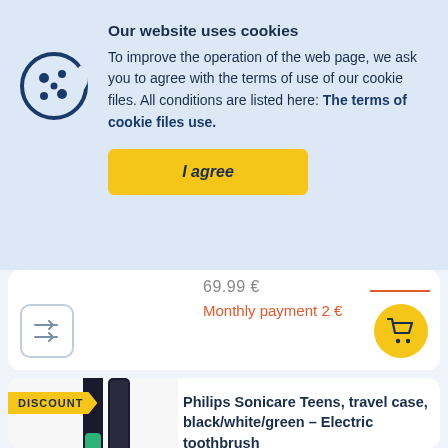Our website uses cookies
To improve the operation of the web page, we ask you to agree with the terms of use of our cookie files. All conditions are listed here: The terms of cookie files use.
I agree
69.99 €
Monthly payment 2 €
Philips Sonicare Teens, travel case, black/white/green – Electric toothbrush
HX6212/89
in stock
DISCOUNT